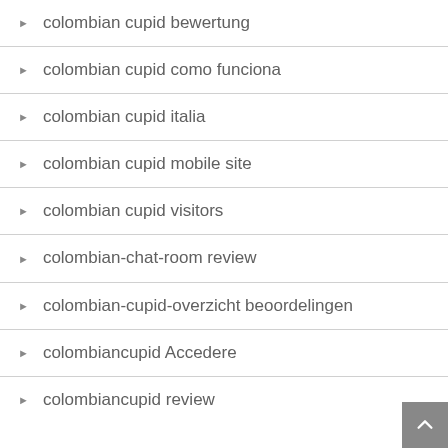colombian cupid bewertung
colombian cupid como funciona
colombian cupid italia
colombian cupid mobile site
colombian cupid visitors
colombian-chat-room review
colombian-cupid-overzicht beoordelingen
colombiancupid Accedere
colombiancupid review